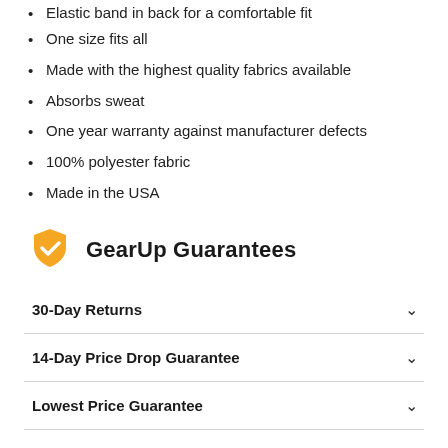Elastic band in back for a comfortable fit
One size fits all
Made with the highest quality fabrics available
Absorbs sweat
One year warranty against manufacturer defects
100% polyester fabric
Made in the USA
GearUp Guarantees
30-Day Returns
14-Day Price Drop Guarantee
Lowest Price Guarantee